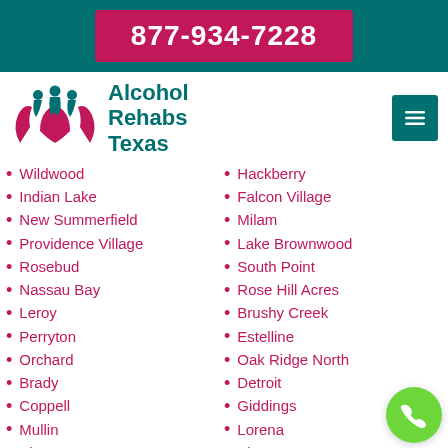877-934-7228
[Figure (logo): Alcohol Rehabs Texas logo with stylized hands and figures in teal and pink]
Alcohol Rehabs Texas
Wildwood
Indian Lake
New Summerfield
Providence Village
Rosebud
Nassau Bay
Leroy
Perryton
Orchard
Brady
Coppell
Mullin
Plano
Los Veteranos II
Hackberry
Falcon Village
Milam
Lake Brownwood
South Point
Rose Hill Acres
Brushy Creek
Estelline
Oak Ridge North
Detroit
Giddings
Lorena
Slaton
Loraine